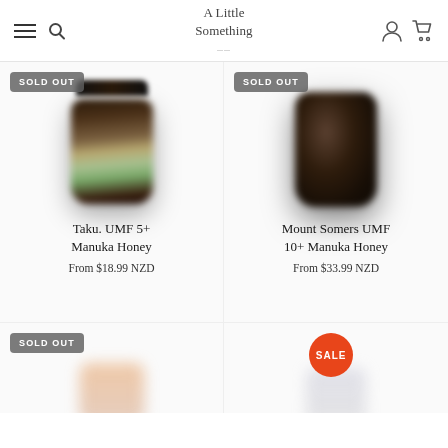A Little Something — navigation bar with hamburger menu, search, account, and cart icons
[Figure (photo): Product photo of Taku. UMF 5+ Manuka Honey jar, blurred, with SOLD OUT badge]
Taku. UMF 5+ Manuka Honey
From $18.99 NZD
[Figure (photo): Product photo of Mount Somers UMF 10+ Manuka Honey jar, blurred, with SOLD OUT badge]
Mount Somers UMF 10+ Manuka Honey
From $33.99 NZD
[Figure (photo): Product photo partially visible at bottom with SOLD OUT badge]
[Figure (photo): Product photo partially visible at bottom with SALE badge (orange circle)]